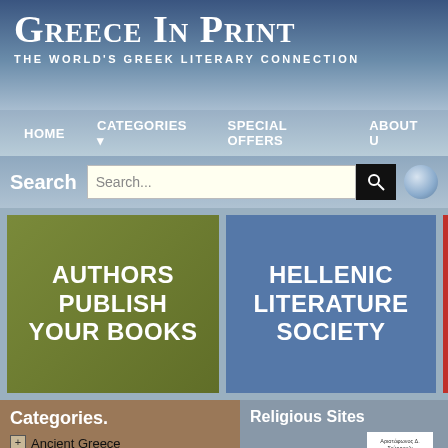Greece In Print
THE WORLD'S GREEK LITERARY CONNECTION
HOME | CATEGORIES | SPECIAL OFFERS | ABOUT U
Search
[Figure (screenshot): Search input box with placeholder text 'Search...' and a magnifying glass button, plus a globe icon]
[Figure (infographic): Olive-green tile reading AUTHORS PUBLISH YOUR BOOKS in bold white uppercase text]
[Figure (infographic): Blue tile reading HELLENIC LITERATURE SOCIETY in bold white uppercase text]
[Figure (infographic): Red tile (partially visible) on the right edge]
Categories.
Ancient Greece
Art
Religious Sites
[Figure (photo): Small book cover preview showing Greek text and red title ΤΟ ΕΙΣΟΔΙΚΟ]